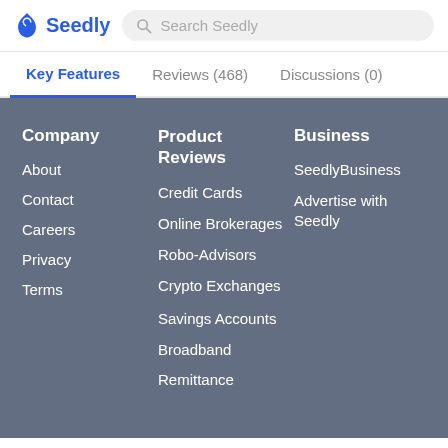Seedly | Search Seedly
Key Features | Reviews (468) | Discussions (0)
Company
About
Contact
Careers
Privacy
Terms
Product Reviews
Credit Cards
Online Brokerages
Robo-Advisors
Crypto Exchanges
Savings Accounts
Broadband
Remittance
Business
SeedlyBusiness
Advertise with Seedly